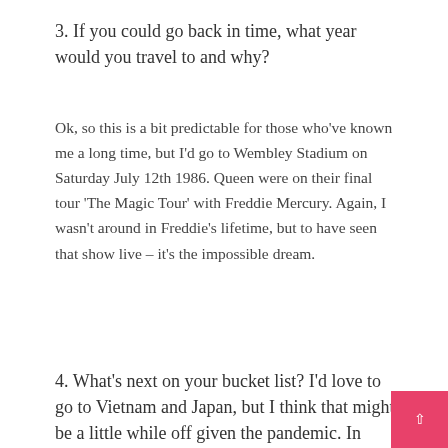3. If you could go back in time, what year would you travel to and why?
Ok, so this is a bit predictable for those who've known me a long time, but I'd go to Wembley Stadium on Saturday July 12th 1986. Queen were on their final tour 'The Magic Tour' with Freddie Mercury. Again, I wasn't around in Freddie's lifetime, but to have seen that show live – it's the impossible dream.
4. What's next on your bucket list? I'd love to go to Vietnam and Japan, but I think that might be a little while off given the pandemic. In terms of